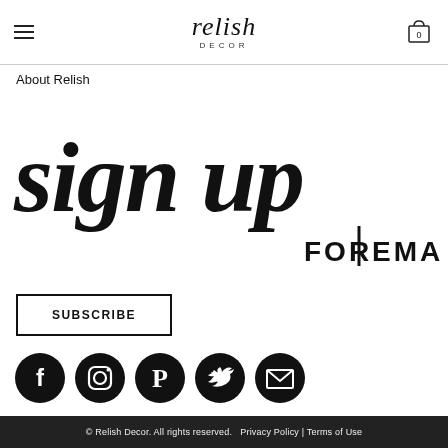relish DECOR — navigation with hamburger menu and cart (0)
About Relish
[Figure (illustration): Large hand-lettered script text reading 'sign up' in bold brush calligraphy, followed by 'FOR EMAIL' in smaller sans-serif caps, forming a newsletter signup banner]
SUBSCRIBE
[Figure (illustration): Row of five circular black social media icons: Facebook, Instagram, Pinterest, Twitter, Email]
© Relish Decor. All rights reserved.  Privacy Policy | Terms of Use